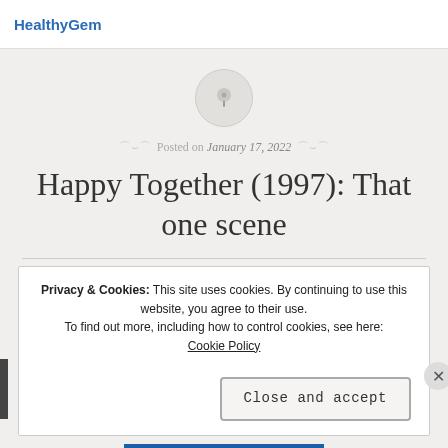HealthyGem
[Figure (illustration): A pin/thumbtack icon inside a light grey circle]
Posted on January 17, 2022
Happy Together (1997): That one scene
Privacy & Cookies: This site uses cookies. By continuing to use this website, you agree to their use.
To find out more, including how to control cookies, see here:
Cookie Policy
Close and accept